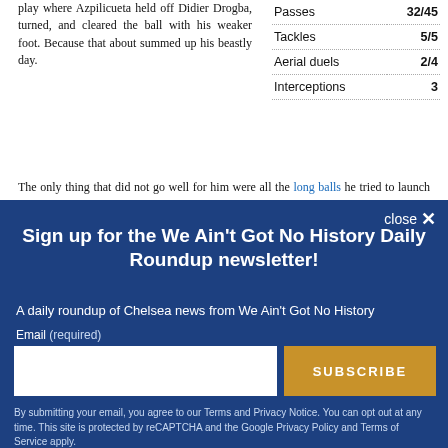play where Azpilicueta held off Didier Drogba, turned, and cleared the ball with his weaker foot. Because that about summed up his beastly day.
|  |  |
| --- | --- |
| Passes | 32/45 |
| Tackles | 5/5 |
| Aerial duels | 2/4 |
| Interceptions | 3 |
The only thing that did not go well for him were all the long balls he tried to launch over the top, which in large part contributed to him having the worst Chelsea passing percentage on the day. Whether that was due to our personnel (no Schürrle, no Torres, only Hazard to run onto those), strategy, or Dave not being dialed-in would require further review.
[Figure (screenshot): Newsletter signup overlay with dark blue background. Title: 'Sign up for the We Ain't Got No History Daily Roundup newsletter!' Subtitle: 'A daily roundup of Chelsea news from We Ain't Got No History'. Email input field and orange SUBSCRIBE button. Close button top right. Disclaimer text at bottom.]